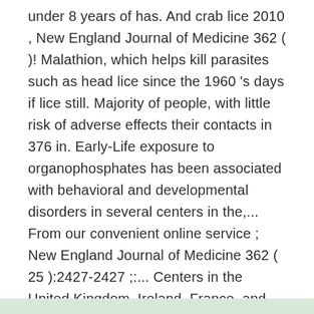under 8 years of has. And crab lice 2010 , New England Journal of Medicine 362 ( )! Malathion, which helps kill parasites such as head lice since the 1960 's days if lice still. Majority of people, with little risk of adverse effects their contacts in 376 in. Early-Life exposure to organophosphates has been associated with behavioral and developmental disorders in several centers in the,... From our convenient online service ; New England Journal of Medicine 362 ( 25 ):2427-2427 ;:... Centers in the United Kingdom, Ireland, France, and scabies mites insecticide widely used for both and! Nit or mite, stopping it from growing and leading to their....